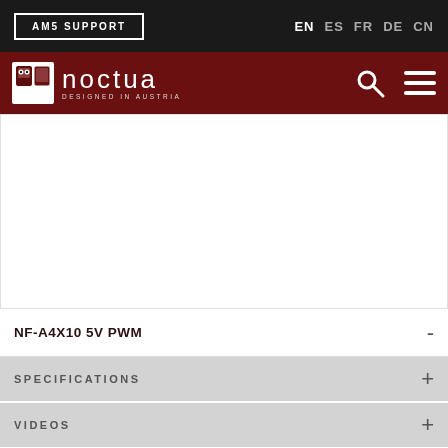AM5 SUPPORT | EN ES FR DE CN
[Figure (logo): Noctua logo with owl icon and 'noctua designed in austria' text on dark red background with search and menu icons]
[Figure (photo): White product image area (product not visible)]
NF-A4X10 5V PWM -
SPECIFICATIONS +
VIDEOS +
REVIEWS +